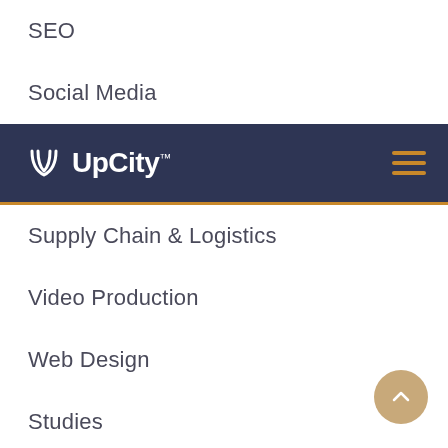SEO
Social Media
[Figure (logo): UpCity logo with icon on dark navy background navigation bar with hamburger menu icon]
Supply Chain & Logistics
Video Production
Web Design
Studies